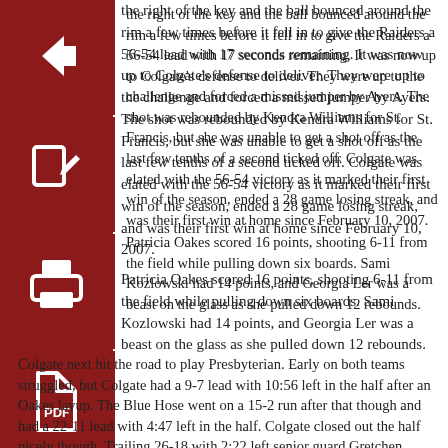the right of the key and the ball bounced around the rim a few times before it fell in to give the Raiders a 56-54 lead with 17 seconds remaining. It was now up to Colgate's defense to deliver. They were up to the challenge and forced a missed jumper by Ayers. The shot was rebounded by Kendra Williams for St. Francis, but she was unable to get a shot off as the last few tenths of a second ticked off. Colgate was elated with the 56-54 victory as it marked their first win of the season, ended a 28 game losing streak, and was their first win at home since February 10, 2007.
[Figure (illustration): Dark red back arrow icon button]
[Figure (illustration): Dark red edit/pencil icon button]
[Figure (illustration): Dark red print icon button]
[Figure (illustration): Dark red PDF/document icon button]
Patricia Oakes scored 16 points, shooting 6-11 from the field while pulling down six boards. Sami Kozlowski had 14 points, and Georgia Ler was a beast on the glass as she pulled down 12 rebounds.
Colgate next hit the road to play Presbyterian. Early on both teams struggled, but Colgate had a 9-7 lead with 10:56 left in the half after an Oakes layup. The Blue Hose went on a 15-2 run after that though and had a 22-11 lead with 4:47 left in the half. Colgate closed out the half nicely though. Trailing 26-18 with 2:22 left senior guard Gretchen Polinski hit back to back threes to cut the lead to 26-24, before Katlin Moore hit a two right before the half to give Presbyterian a 28-24 advantage.
The Blue Hose buried the Raiders to start the second half and opened on a 14-6 run to take a 42-30 lead with 12:06 left. They never looked back and coasted to a 62-50 win. Sami Kozlowski led the way for Colgate